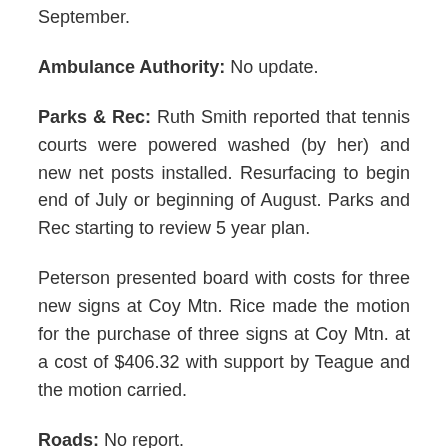September.
Ambulance Authority: No update.
Parks & Rec: Ruth Smith reported that tennis courts were powered washed (by her) and new net posts installed. Resurfacing to begin end of July or beginning of August. Parks and Rec starting to review 5 year plan.
Peterson presented board with costs for three new signs at Coy Mtn. Rice made the motion for the purchase of three signs at Coy Mtn. at a cost of $406.32 with support by Teague and the motion carried.
Roads: No report.